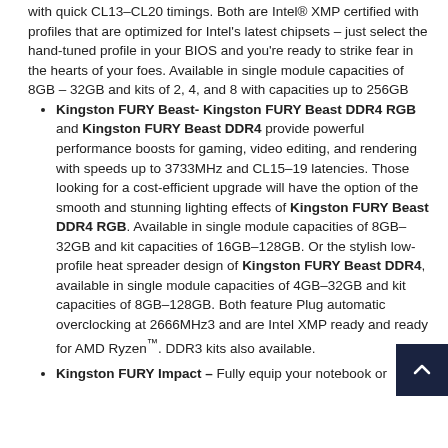with quick CL13–CL20 timings. Both are Intel® XMP certified with profiles that are optimized for Intel's latest chipsets – just select the hand-tuned profile in your BIOS and you're ready to strike fear in the hearts of your foes. Available in single module capacities of 8GB – 32GB and kits of 2, 4, and 8 with capacities up to 256GB
Kingston FURY Beast- Kingston FURY Beast DDR4 RGB and Kingston FURY Beast DDR4 provide powerful performance boosts for gaming, video editing, and rendering with speeds up to 3733MHz and CL15–19 latencies. Those looking for a cost-efficient upgrade will have the option of the smooth and stunning lighting effects of Kingston FURY Beast DDR4 RGB. Available in single module capacities of 8GB–32GB and kit capacities of 16GB–128GB. Or the stylish low-profile heat spreader design of Kingston FURY Beast DDR4, available in single module capacities of 4GB–32GB and kit capacities of 8GB–128GB. Both feature Plug and automatic overclocking at 2666MHz3 and are Intel XMP ready and ready for AMD Ryzen™. DDR3 kits also available.
Kingston FURY Impact – Fully equip your notebook or